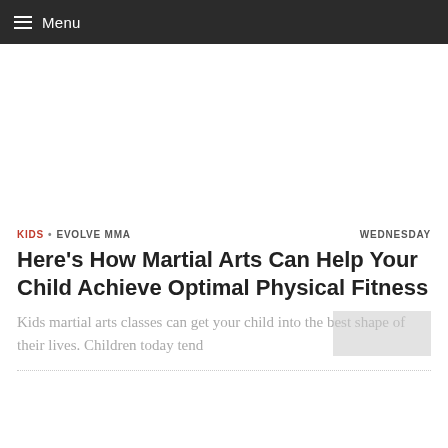Menu
[Figure (other): Advertisement or image placeholder area]
KIDS · EVOLVE MMA     WEDNESDAY
Here's How Martial Arts Can Help Your Child Achieve Optimal Physical Fitness
Kids martial arts classes can get your child into the best shape of their lives. Children today tend